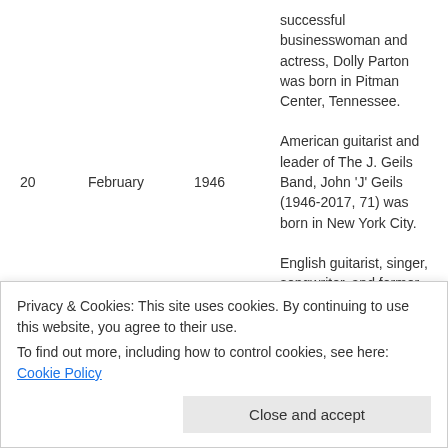| Day | Month | Year | Description |
| --- | --- | --- | --- |
|  |  |  | successful businesswoman and actress, Dolly Parton was born in Pitman Center, Tennessee. |
| 20 | February | 1946 | American guitarist and leader of The J. Geils Band, John 'J' Geils (1946-2017, 71) was born in New York City. |
| 6 | March | 1946 | English guitarist, singer, songwriter, and former member of Pink Floyd, as well as a successful solo artist, the incomparable David Gilmour was born in Cambridge. |
Privacy & Cookies: This site uses cookies. By continuing to use this website, you agree to their use. To find out more, including how to control cookies, see here: Cookie Policy